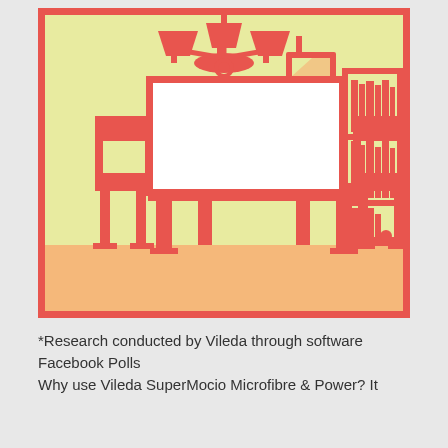[Figure (illustration): Flat design illustration of a dining room interior with red outlines on a light green/cream background. Features a chandelier with three lamp shades hanging from the ceiling, a rectangular picture frame/mirror on the wall, a large rectangular table in the center, two dining chairs (one on each side), and a tall bookshelf on the right filled with books and a small decorative item. The floor is rendered in a warm peach/orange color.]
*Research conducted by Vileda through software Facebook Polls
Why use Vileda SuperMocio Microfibre & Power? It